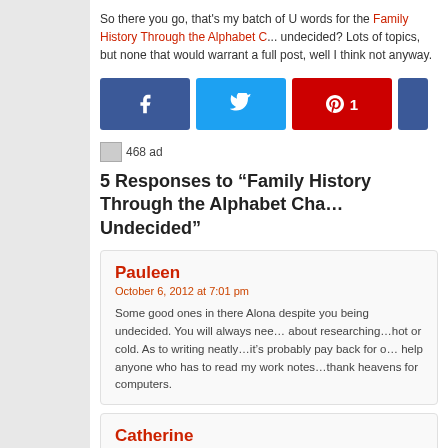So there you go, that's my batch of U words for the Family History Through the Alphabet C... undecided? Lots of topics, but none that would warrant a full post, well I think not anyway.
[Figure (other): Social share buttons: Facebook, Twitter, Pinterest (with count 1), and a partially visible blue button]
[Figure (other): 468 ad placeholder image]
5 Responses to “Family History Through the Alphabet Cha... Undecided”
Pauleen
October 6, 2012 at 7:01 pm
Some good ones in there Alona despite you being undecided. You will always nee... about researching…hot or cold. As to writing neatly…it’s probably pay back for o... help anyone who has to read my work notes…thank heavens for computers.
Catherine